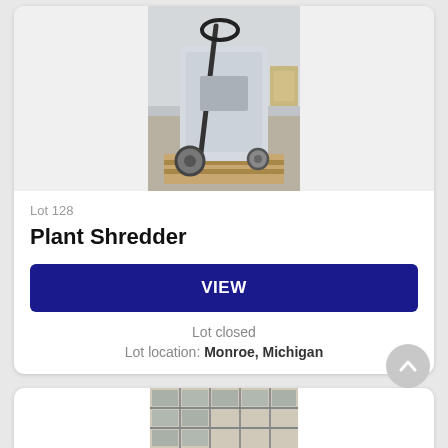[Figure (photo): Photograph of a plant shredder machine wrapped in plastic, sitting on a wooden pallet in a warehouse]
Lot 128
Plant Shredder
VIEW
Lot closed
Lot location: Monroe, Michigan
[Figure (photo): Partial view of the next auction lot showing metal shelving or cabinets]